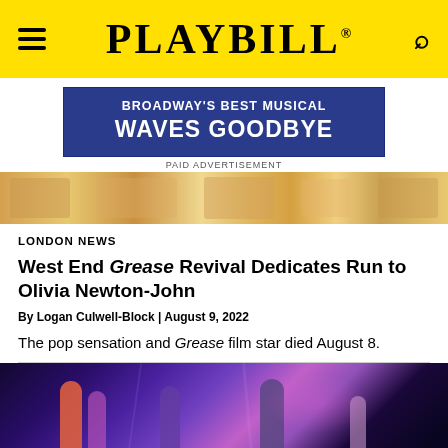PLAYBILL
[Figure (screenshot): Advertisement banner: BROADWAY'S BEST MUSICAL WAVES GOODBYE with PAID ADVERTISEMENT label]
[Figure (photo): Strip of a theatrical show, colorful costumes and stage lighting]
LONDON NEWS
West End Grease Revival Dedicates Run to Olivia Newton-John
By Logan Culwell-Block | August 9, 2022
The pop sensation and Grease film star died August 8.
[Figure (photo): Theater stage photo showing Grease West End revival performers under purple and pink stage lighting]